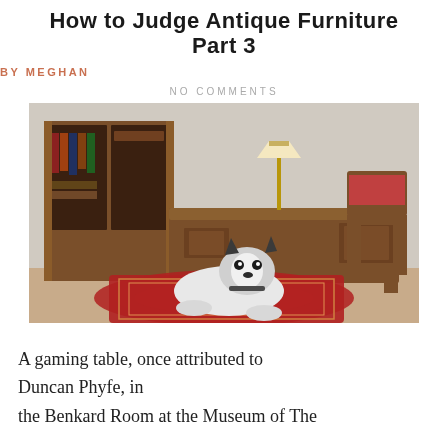How to Judge Antique Furniture Part 3
BY MEGHAN
NO COMMENTS
[Figure (photo): Antique wooden desk and bookcase with a Husky dog lying on a red Persian rug in front, set against a white brick wall. A lamp and decorative chair are also visible.]
A gaming table, once attributed to Duncan Phyfe, in the Benkard Room at the Museum of The